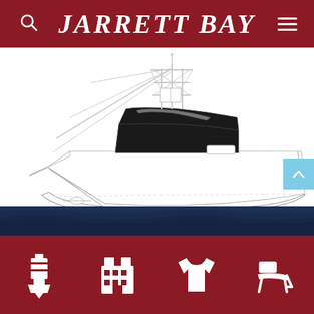JARRETT BAY
[Figure (illustration): Line drawing rendering of a large sport fishing boat / yacht shown from the side, with outriggers, tower, and dark cabin top]
RENDERINGS GALLERY
[Figure (other): Dark navy blue wave texture footer band]
[Figure (other): Four white icon symbols in the bottom navigation: lighthouse/boat marker, building/marina, t-shirt, and beach chair]